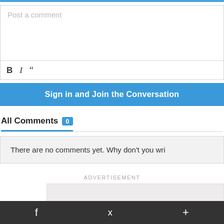[Figure (screenshot): Top blue horizontal bar at the top of the page]
Post a comment
[Figure (screenshot): Formatting toolbar with B, I, and quote buttons]
Sign in and Join the Conversation
All Comments 0
There are no comments yet. Why don't you wri
ADVERTISEMENT
[Figure (screenshot): Advertisement placeholder box]
[Figure (screenshot): Bottom dark bar with social icons: f (Facebook), bird (Twitter), + (more)]